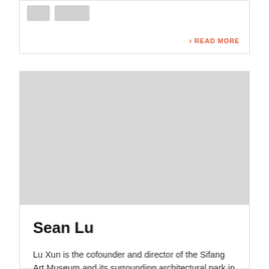[Figure (other): Two small gray placeholder image thumbnails in the top card area]
› READ MORE
[Figure (photo): Large gray placeholder image rectangle representing a photo]
Sean Lu
Lu Xun is the cofounder and director of the Sifang Art Museum and its surrounding architectural park in Nanjing. He is a